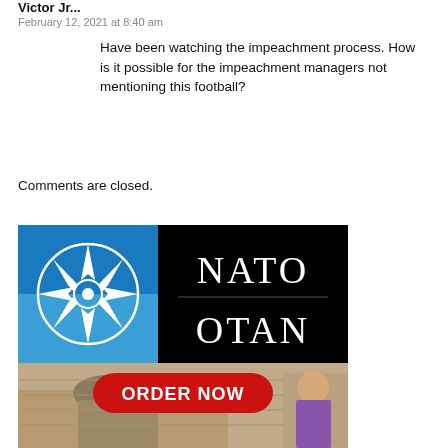Victor Jr...
February 12, 2021 at 8:40 am
Have been watching the impeachment process. How is it possible for the impeachment managers not mentioning this football?
Comments are closed.
[Figure (illustration): NATO/OTAN advertisement banner showing the NATO compass rose logo on a blue background on the left, 'NATO' and 'OTAN' text on black background on the right, and a red 'ORDER NOW' button overlaid on a photograph of soldiers and a child near a stone wall at the bottom.]